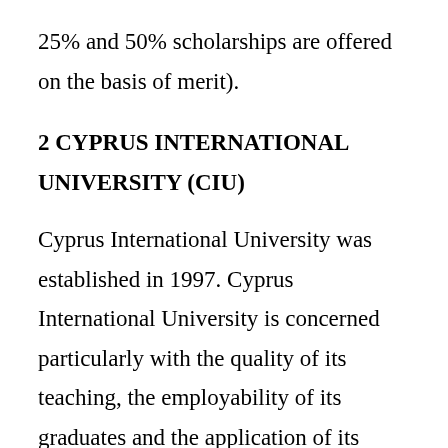25% and 50% scholarships are offered on the basis of merit).
2 CYPRUS INTERNATIONAL UNIVERSITY (CIU)
Cyprus International University was established in 1997. Cyprus International University is concerned particularly with the quality of its teaching, the employability of its graduates and the application of its research expertise for